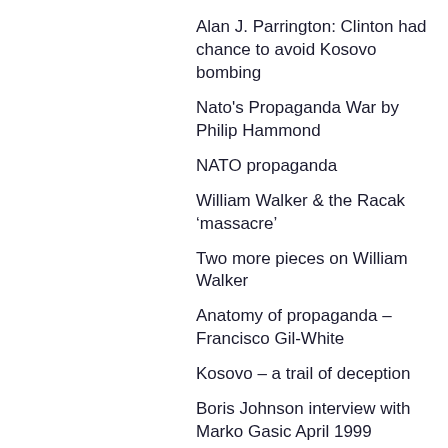Alan J. Parrington: Clinton had chance to avoid Kosovo bombing
Nato's Propaganda War by Philip Hammond
NATO propaganda
William Walker & the Racak 'massacre'
Two more pieces on William Walker
Anatomy of propaganda – Francisco Gil-White
Kosovo – a trail of deception
Boris Johnson interview with Marko Gasic April 1999
Kosovo – NATO propaganda
Mary Mostert on the lies told about the Kosovo war
Press Now Newsletter, Malesija, Malis 2004...